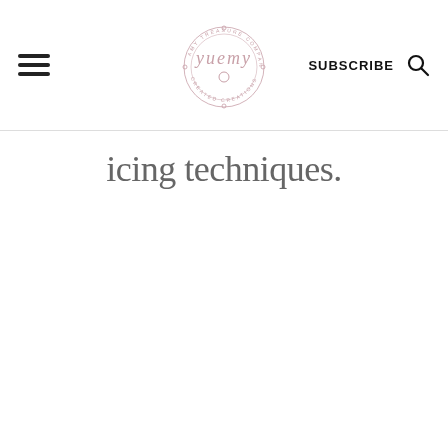yuemy — SUBSCRIBE
icing techniques.